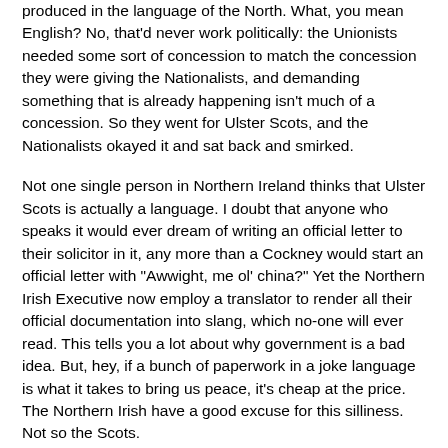produced in the language of the North. What, you mean English? No, that'd never work politically: the Unionists needed some sort of concession to match the concession they were giving the Nationalists, and demanding something that is already happening isn't much of a concession. So they went for Ulster Scots, and the Nationalists okayed it and sat back and smirked.
Not one single person in Northern Ireland thinks that Ulster Scots is actually a language. I doubt that anyone who speaks it would ever dream of writing an official letter to their solicitor in it, any more than a Cockney would start an official letter with "Awwight, me ol' china?" Yet the Northern Irish Executive now employ a translator to render all their official documentation into slang, which no-one will ever read. This tells you a lot about why government is a bad idea. But, hey, if a bunch of paperwork in a joke language is what it takes to bring us peace, it's cheap at the price. The Northern Irish have a good excuse for this silliness. Not so the Scots.
Ulster Scots comes, as you might guess, from Scotland. People from the West of Scotland migrated to Northern Ireland, bringing their English language with them. A lot of Scots...